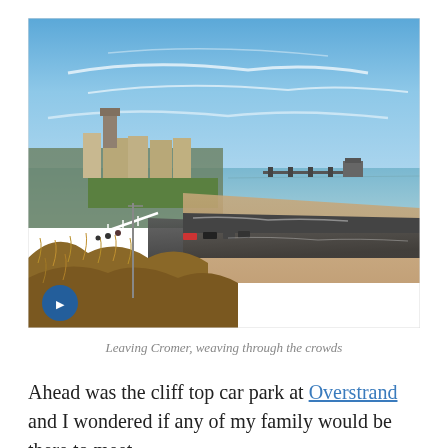[Figure (photo): Aerial/elevated view of Cromer, Norfolk, UK coastline showing a pier extending into the sea, a beach road with parked cars, sandy beach, dry scrubby vegetation in the foreground, town buildings and a church tower visible to the left, blue sky with wispy clouds. Watermark 'www.ultrarun.in' in bottom right corner and a blue circular logo in the bottom left.]
Leaving Cromer, weaving through the crowds
Ahead was the cliff top car park at Overstrand and I wondered if any of my family would be there to meet